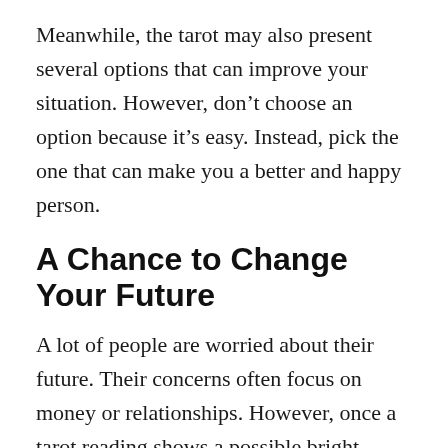Meanwhile, the tarot may also present several options that can improve your situation. However, don't choose an option because it's easy. Instead, pick the one that can make you a better and happy person.
A Chance to Change Your Future
A lot of people are worried about their future. Their concerns often focus on money or relationships. However, once a tarot reading shows a possible bright future, any pessimistic attitudes will instantly evaporate as you are filled with hope and anticipation.